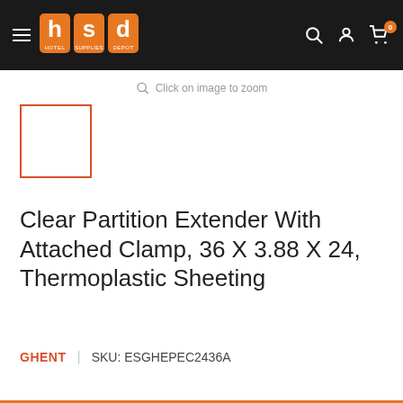Hotel Supplies Depot (hsd) — navigation header with logo, search, account, and cart icons
Click on image to zoom
[Figure (photo): Small thumbnail image placeholder with red/orange border, no product image shown]
Clear Partition Extender With Attached Clamp, 36 X 3.88 X 24, Thermoplastic Sheeting
GHENT | SKU: ESGHEPEC2436A